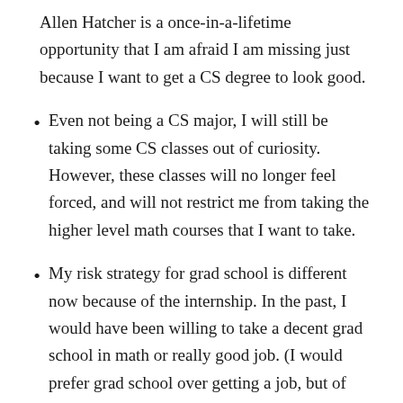Allen Hatcher is a once-in-a-lifetime opportunity that I am afraid I am missing just because I want to get a CS degree to look good.
Even not being a CS major, I will still be taking some CS classes out of curiosity. However, these classes will no longer feel forced, and will not restrict me from taking the higher level math courses that I want to take.
My risk strategy for grad school is different now because of the internship. In the past, I would have been willing to take a decent grad school in math or really good job. (I would prefer grad school over getting a job, but of course, a good job is better than a mediocre grad school.) However, now that I have my dream internship, I am willing to play the